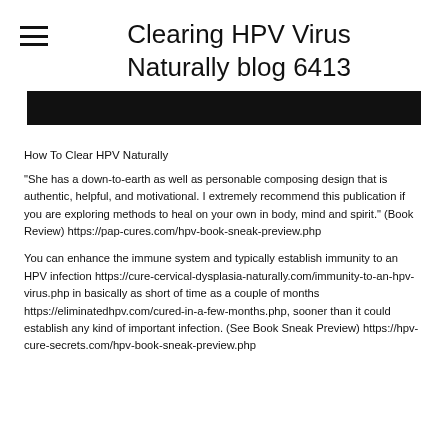Clearing HPV Virus Naturally blog 6413
[Figure (photo): Black banner/header image bar]
How To Clear HPV Naturally
"She has a down-to-earth as well as personable composing design that is authentic, helpful, and motivational. I extremely recommend this publication if you are exploring methods to heal on your own in body, mind and spirit." (Book Review) https://pap-cures.com/hpv-book-sneak-preview.php
You can enhance the immune system and typically establish immunity to an HPV infection https://cure-cervical-dysplasia-naturally.com/immunity-to-an-hpv-virus.php in basically as short of time as a couple of months https://eliminatedhpv.com/cured-in-a-few-months.php, sooner than it could establish any kind of important infection. (See Book Sneak Preview) https://hpv-cure-secrets.com/hpv-book-sneak-preview.php